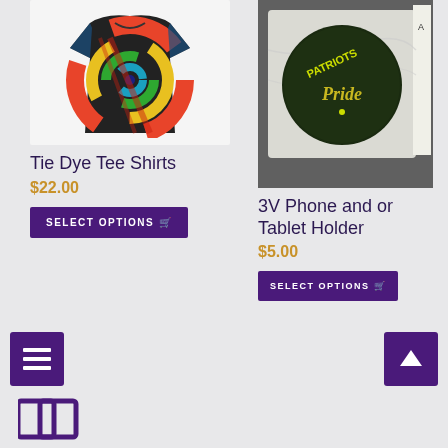[Figure (photo): Colorful tie-dye t-shirt on white background]
Tie Dye Tee Shirts
$22.00
SELECT OPTIONS
[Figure (photo): Patriots Pride button/pin badge in clear plastic packaging on dark background]
3V Phone and or Tablet Holder
$5.00
SELECT OPTIONS
[Figure (logo): Purple logo icon in bottom left footer area]
[Figure (other): Hamburger menu icon button (purple) bottom left and up arrow button (purple) bottom right]